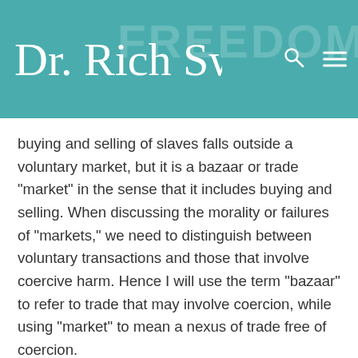Dr. Rich Swier
buying and selling of slaves falls outside a voluntary market, but it is a bazaar or trade “market” in the sense that it includes buying and selling. When discussing the morality or failures of “markets,” we need to distinguish between voluntary transactions and those that involve coercive harm. Hence I will use the term “bazaar” to refer to trade that may involve coercion, while using “market” to mean a nexus of trade free of coercion.
In his paper “Is Economics Independent of Ethics?” economist Jack High examined the term